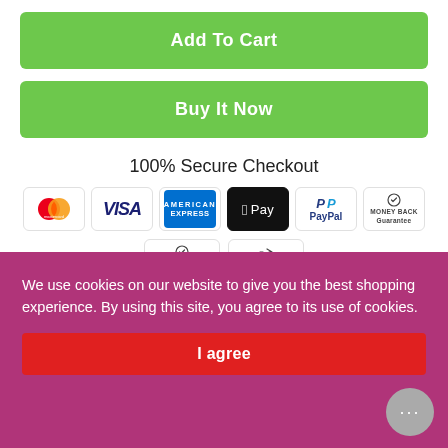Add To Cart
Buy It Now
100% Secure Checkout
[Figure (logo): Payment method icons: Mastercard, Visa, American Express, Apple Pay, PayPal, Money Back Guarantee, Secure Checkout badge, Returns Accepted badge]
We use cookies on our website to give you the best shopping experience. By using this site, you agree to its use of cookies.
I agree